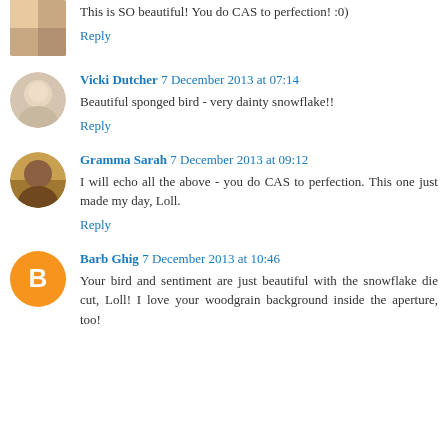This is SO beautiful! You do CAS to perfection! :0)
Reply
Vicki Dutcher 7 December 2013 at 07:14
Beautiful sponged bird - very dainty snowflake!!
Reply
Gramma Sarah 7 December 2013 at 09:12
I will echo all the above - you do CAS to perfection. This one just made my day, Loll.
Reply
Barb Ghig 7 December 2013 at 10:46
Your bird and sentiment are just beautiful with the snowflake die cut, Loll! I love your woodgrain background inside the aperture, too!